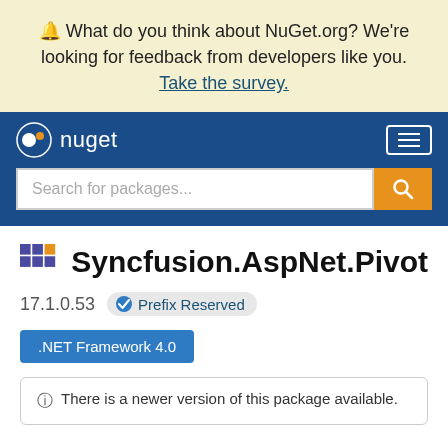🔔 What do you think about NuGet.org? We're looking for feedback from developers like you. Take the survey.
[Figure (screenshot): NuGet navigation bar with logo and hamburger menu icon on dark blue background, with search bar below]
Syncfusion.AspNet.Pivot
17.1.0.53  ✔ Prefix Reserved
.NET Framework 4.0
ⓘ There is a newer version of this package available.